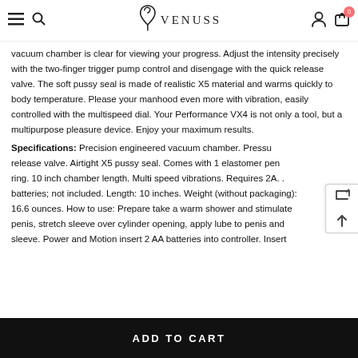VENUSS
vacuum chamber is clear for viewing your progress. Adjust the intensity precisely with the two-finger trigger pump control and disengage with the quick release valve. The soft pussy seal is made of realistic X5 material and warms quickly to body temperature. Please your manhood even more with vibration, easily controlled with the multispeed dial. Your Performance VX4 is not only a tool, but a multipurpose pleasure device. Enjoy your maximum results.
Specifications: Precision engineered vacuum chamber. Pressure release valve. Airtight X5 pussy seal. Comes with 1 elastomer penis ring. 10 inch chamber length. Multi speed vibrations. Requires 2AA batteries; not included. Length: 10 inches. Weight (without packaging): 16.6 ounces. How to use: Prepare take a warm shower and stimulate penis, stretch sleeve over cylinder opening, apply lube to penis and sleeve. Power and Motion insert 2 AA batteries into controller. Insert
ADD TO CART